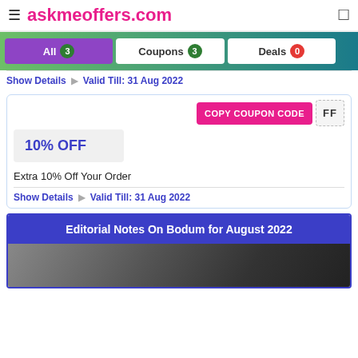askmeoffers.com
All 3  Coupons 3  Deals 0
Show Details  Valid Till: 31 Aug 2022
COPY COUPON CODE  FF
10% OFF
Extra 10% Off Your Order
Show Details  Valid Till: 31 Aug 2022
Editorial Notes On Bodum for August 2022
[Figure (photo): Dark product photo, editorial section for Bodum August 2022]